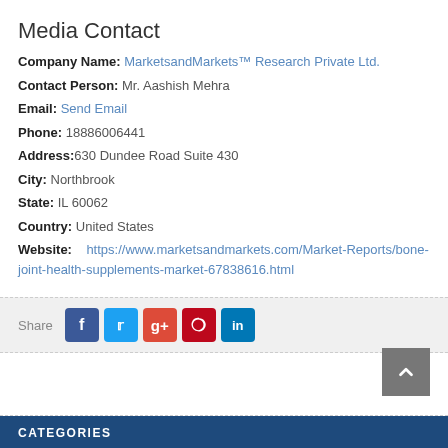Media Contact
Company Name: MarketsandMarkets™ Research Private Ltd.
Contact Person: Mr. Aashish Mehra
Email: Send Email
Phone: 18886006441
Address: 630 Dundee Road Suite 430
City: Northbrook
State: IL 60062
Country: United States
Website: https://www.marketsandmarkets.com/Market-Reports/bone-joint-health-supplements-market-67838616.html
Share (social buttons: Facebook, Twitter, Google+, Pinterest, LinkedIn)
CATEGORIES